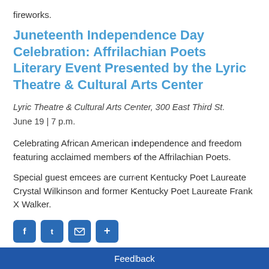fireworks.
Juneteenth Independence Day Celebration: Affrilachian Poets Literary Event Presented by the Lyric Theatre & Cultural Arts Center
Lyric Theatre & Cultural Arts Center, 300 East Third St.
June 19 | 7 p.m.
Celebrating African American independence and freedom featuring acclaimed members of the Affrilachian Poets.
Special guest emcees are current Kentucky Poet Laureate Crystal Wilkinson and former Kentucky Poet Laureate Frank X Walker.
[Figure (other): Social media sharing buttons: Facebook, Twitter, Email, and another platform]
Feedback